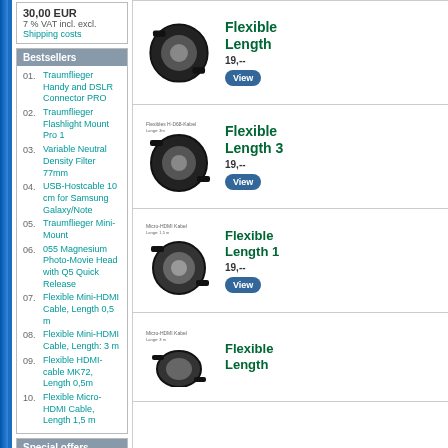30,00 EUR
7 % VAT incl. excl. Shipping costs
Bestsellers
01. Traumflieger Handy and DSLR Connector PRO
02. Traumflieger Flashlight Mount Pro 1
03. Variable Neutral Density Filter 77mm
04. USB-Hostcable 10 cm for Samsung Galaxy/Note
05. Traumflieger Mini-Mount
06. 055 Magnesium Photo-Movie Head with Q5 Quick Release
07. Flexible Mini-HDMI Cable, Length 0,5 m
08. Flexible Mini-HDMI Cable, Length: 3 m
09. Flexible HDMI-cable MK72, Length 0,5m
10. Flexible Micro-HDMI Cable, Length 1,5 m
Special offers
Tiltall Monopod MP-315C, Carbon
instead of 134,95 EUR
only 109,95 EUR
[Figure (photo): Coiled black HDMI cable product photo]
Flexible HDMI-cable Length:
19,--
[Figure (photo): Flexibles H-D68-Kabel, Lange 3m - coiled black HDMI cable product photo]
Flexible HDMI-cable Length 3
19,--
[Figure (photo): Micro-HDMI Kabel, Lange 1,5m - coiled black micro-HDMI cable product photo]
Flexible Micro-HDMI Cable Length 1
19,--
[Figure (photo): Micro-HDMI Kabel, Lange 3m - coiled black micro-HDMI cable product photo]
Flexible Micro-HDMI Cable Length